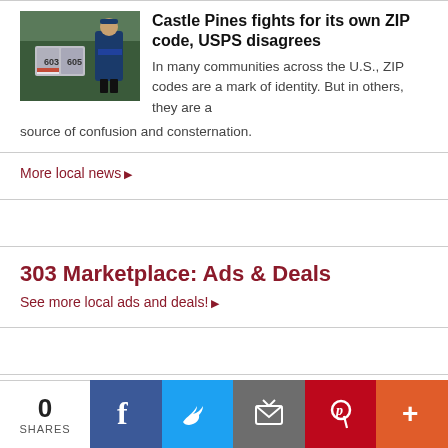[Figure (photo): USPS mailboxes with postal worker in background]
Castle Pines fights for its own ZIP code, USPS disagrees
In many communities across the U.S., ZIP codes are a mark of identity. But in others, they are a source of confusion and consternation.
More local news ▶
303 Marketplace: Ads & Deals
See more local ads and deals! ▶
0 SHARES | Facebook | Twitter | Email | Pinterest | More